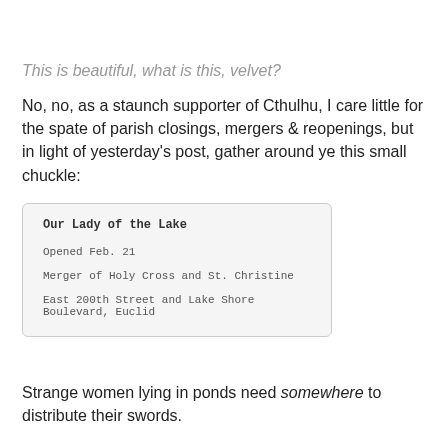This is beautiful, what is this, velvet?
No, no, as a staunch supporter of Cthulhu, I care little for the spate of parish closings, mergers & reopenings, but in light of yesterday's post, gather around ye this small chuckle:
[Figure (screenshot): A card-style box showing church information: 'Our Lady of the Lake', 'Opened Feb. 21', 'Merger of Holy Cross and St. Christine', 'East 200th Street and Lake Shore Boulevard, Euclid']
Strange women lying in ponds need somewhere to distribute their swords.